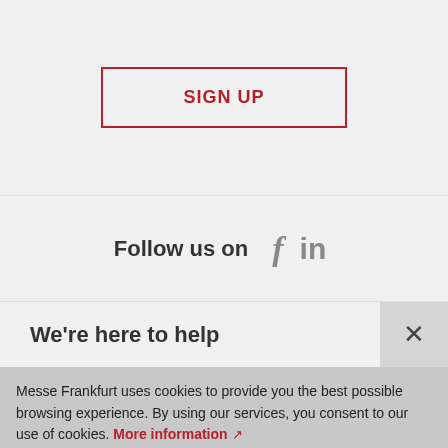[Figure (other): SIGN UP button with red border on grey background]
Follow us on  f  in
We're here to help
Messe Frankfurt uses cookies to provide you the best possible browsing experience. By using our services, you consent to our use of cookies. More information ↗